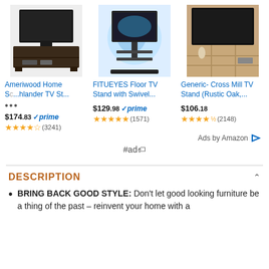[Figure (photo): Ameriwood Home Scothlander TV Stand product image - dark wood TV stand]
[Figure (photo): FITUEYES Floor TV Stand with Swivel - black metal stand with two shelves]
[Figure (photo): Generic Cross Mill TV Stand (Rustic Oak) - light wood TV stand with shelves]
Ameriwood Home Sc...hlander TV St...
$174.83 prime
★★★★☆ (3241)
FITUEYES Floor TV Stand with Swivel...
$129.98 prime
★★★★★ (1571)
Generic- Cross Mill TV Stand (Rustic Oak,...
$106.18
★★★★½ (2148)
Ads by Amazon
#ad🏷
DESCRIPTION
BRING BACK GOOD STYLE: Don't let good looking furniture be a thing of the past – reinvent your home with a